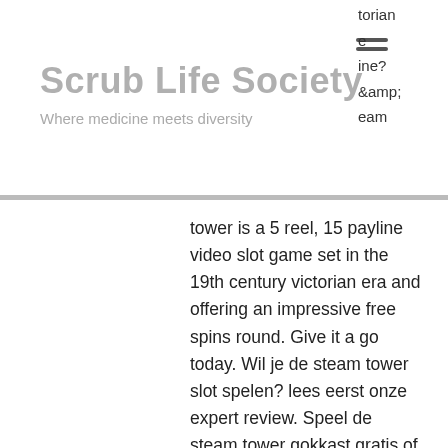Scrub Life Society
Where medicine meets diversity
torian e ine? &amp; eam
tower is a 5 reel, 15 payline video slot game set in the 19th century victorian era and offering an impressive free spins round. Give it a go today. Wil je de steam tower slot spelen? lees eerst onze expert review. Speel de steam tower gokkast gratis of met een casino bonus. Overall i feel that steam tower by net entertainment is a fun adventure themed slot. I enjoy the game's graphics and fluid gameplay, and also feel that the Wizard of Oz Slot. Another game from WMS with 5 reels and 30 paylines, steam tower slot machine reviews. It is based on a popular musical film produced by Metro-Goldwyn-Mayer. The slot features all the popular characters from the movie, including Dorothy, Toto, Lion, Scarecrow, and others.